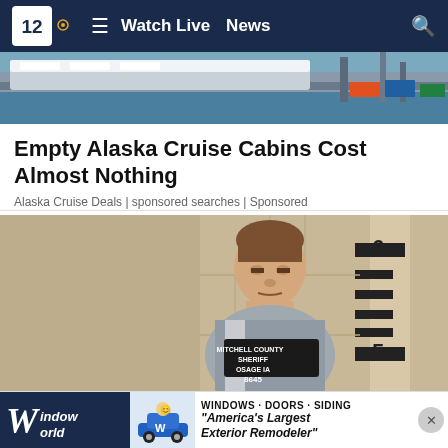NBC 12 — Watch Live  News
[Figure (photo): Partial view of a cruise ship docked at a pier with blue water visible]
Empty Alaska Cruise Cabins Cost Almost Nothing
Alaska Cruise Deals | sponsored searches | Sponsored
[Figure (photo): Mugshot of a young man in jail clothes holding a Mitchell County Sheriff Osage IA booking sign number 8645, standing in front of a height measurement wall]
[Figure (other): Window World advertisement banner: WINDOWS · DOORS · SIDING — America's Largest Exterior Remodeler]